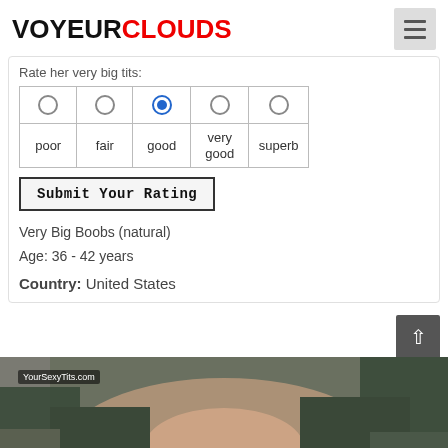VOYEURCLOUDS
Rate her very big tits:
| poor | fair | good | very good | superb |
| --- | --- | --- | --- | --- |
| ○ | ○ | ● | ○ | ○ |
Submit Your Rating
Very Big Boobs (natural)
Age: 36 - 42 years
Country: United States
[Figure (photo): Partial photo of a woman outdoors, watermarked YourSexyTits.com]